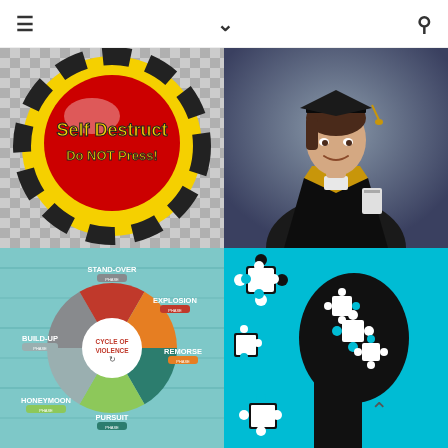≡  ∨  🔍
[Figure (illustration): Red self-destruct button with yellow and black border, text 'Self Destruct Do NOT Press!']
[Figure (photo): Woman in graduation gown and cap smiling, holding diploma]
[Figure (infographic): Cycle of Violence pie chart with segments: STAND-OVER, EXPLOSION, REMORSE, PURSUIT, HONEYMOON, BUILD-UP]
[Figure (illustration): Black silhouette of human head on cyan background with white puzzle pieces inside the head area and scattered around]